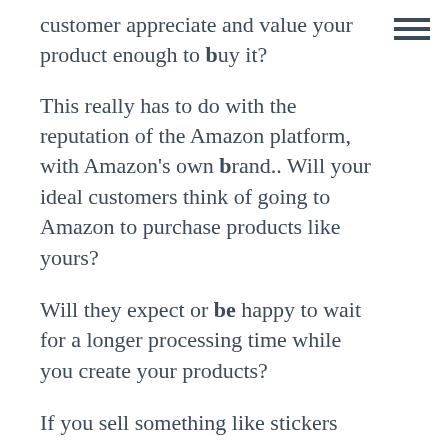customer appreciate and value your product enough to buy it?
This really has to do with the reputation of the Amazon platform, with Amazon's own brand.. Will your ideal customers think of going to Amazon to purchase products like yours?
Will they expect or be happy to wait for a longer processing time while you create your products?
If you sell something like stickers